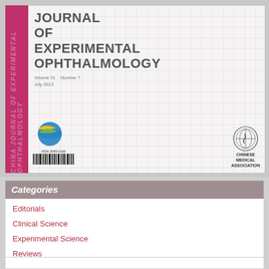[Figure (photo): Journal cover of China Journal of Experimental Ophthalmology, Volume 31, Number 7, July 2013. Features pink spine, grid-pattern cover with bold title text, two institutional logos (a colorful bird/globe logo and Chinese Medical Association seal), an ISSN barcode (ISSN 2095-0160).]
Categories
Editorials
Clinical Science
Experimental Science
Reviews